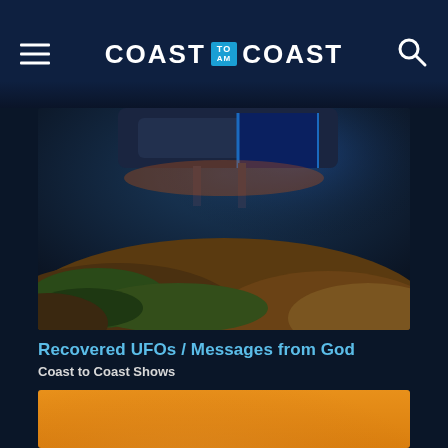COAST TO AM COAST
[Figure (photo): Partially visible image of a UFO or spacecraft over a dark hilly landscape with green vegetation and orange tones]
Recovered UFOs / Messages from God
Coast to Coast Shows
[Figure (photo): Orange/amber desert landscape with dunes and hazy sky, resembling Mars or a desert environment]